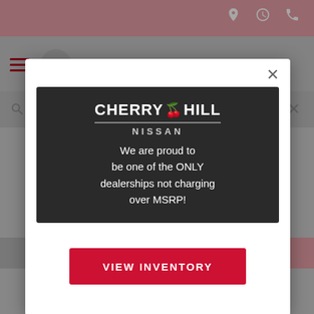[Figure (screenshot): Cherry Hill Nissan dealership website screenshot showing a popup modal advertisement. Background shows pink header bar with location/time/phone icons, navigation bar with hamburger menu and Cherry Hill logo, a search bar, and bottom navigation buttons (Schedule Service, Learn More). The modal contains the Cherry Hill Nissan logo, an advertisement image with text 'We are proud to be one of the ONLY dealerships not charging over MSRP!', and a red 'VIEW INVENTORY' button.]